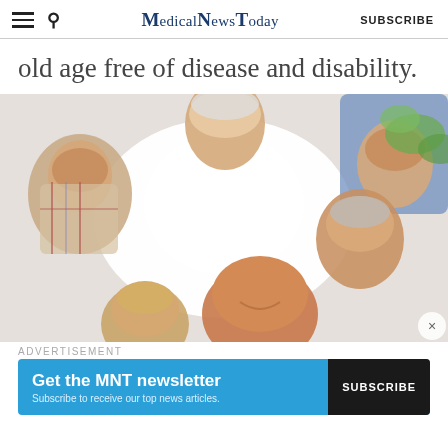MedicalNewsToday | SUBSCRIBE
old age free of disease and disability.
[Figure (photo): Group of smiling elderly people forming a circle, photographed from below looking up at their faces. Six seniors visible — men and women — in casual clothing, some with white/grey hair, smiling warmly. Background is bright white/sky. A close button (×) appears bottom right.]
ADVERTISEMENT
Get the MNT newsletter
Subscribe to receive our top news articles.
SUBSCRIBE